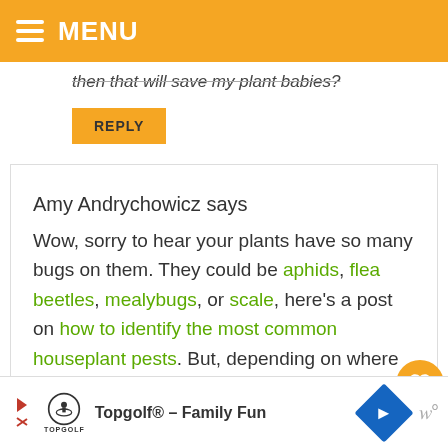MENU
then that will save my plant babies?
REPLY
Amy Andrychowicz says
Wow, sorry to hear your plants have so many bugs on them. They could be aphids, flea beetles, mealybugs, or scale, here's a post on how to identify the most common houseplant pests. But, depending on where you live, it could be something else, there are a lot more outdoor bugs than indoor
Topgolf® – Family Fun